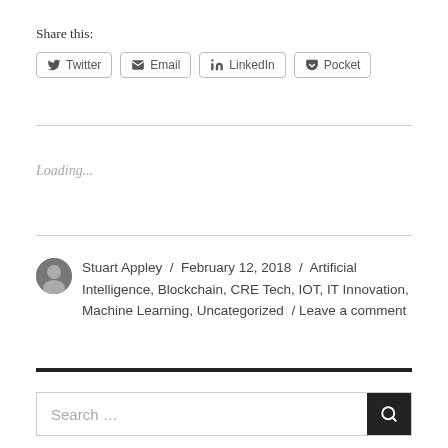Share this:
[Figure (other): Social share buttons: Twitter, Email, LinkedIn, Pocket]
Loading...
Stuart Appley / February 12, 2018 / Artificial Intelligence, Blockchain, CRE Tech, IOT, IT Innovation, Machine Learning, Uncategorized / Leave a comment
Search ...